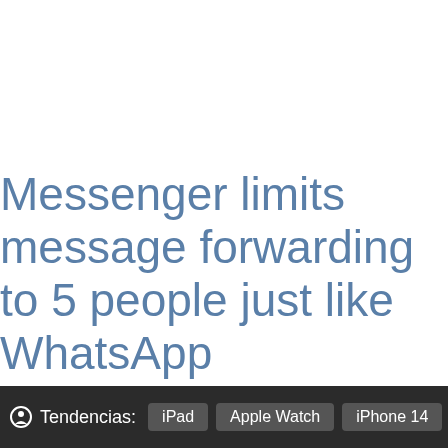Messenger limits message forwarding to 5 people just like WhatsApp
Tendencias: iPad   Apple Watch   iPhone 14   iC…